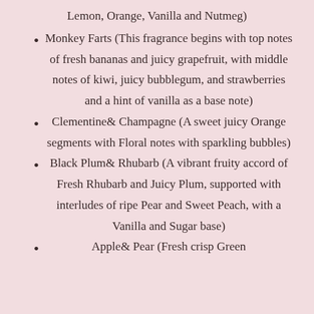Lemon, Orange, Vanilla and Nutmeg)
Monkey Farts (This fragrance begins with top notes of fresh bananas and juicy grapefruit, with middle notes of kiwi, juicy bubblegum, and strawberries and a hint of vanilla as a base note)
Clementine& Champagne (A sweet juicy Orange segments with Floral notes with sparkling bubbles)
Black Plum& Rhubarb (A vibrant fruity accord of Fresh Rhubarb and Juicy Plum, supported with interludes of ripe Pear and Sweet Peach, with a Vanilla and Sugar base)
Apple& Pear (Fresh crisp Green